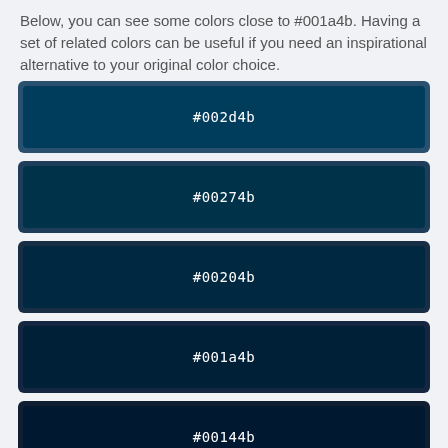Below, you can see some colors close to #001a4b. Having a set of related colors can be useful if you need an inspirational alternative to your original color choice.
[Figure (infographic): Seven color swatches showing shades close to #001a4b: #002d4b, #00274b, #00204b, #001a4b, #00144b, #000e4b, and a partial eighth swatch at the bottom. Each swatch is a rounded rectangle with the hex code label centered in white monospace text.]